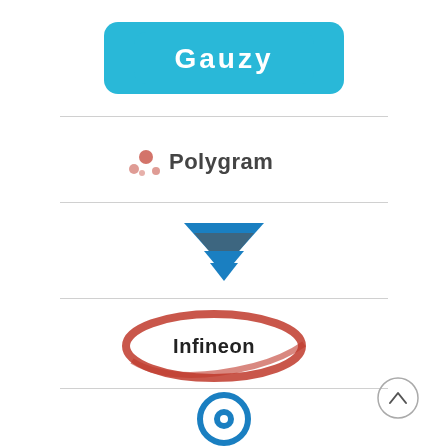[Figure (logo): Gauzy company logo — rounded rectangle with cyan/blue background and white text reading 'Gauzy']
[Figure (logo): Polygram or similar company logo with red/pink network icon and dark text]
[Figure (logo): Blue downward-pointing chevron/triangle logo (possibly Mentor or similar)]
[Figure (logo): Infineon Technologies logo — red swoosh ellipse with dark text 'Infineon']
[Figure (logo): IP or similar blue circular logo at bottom]